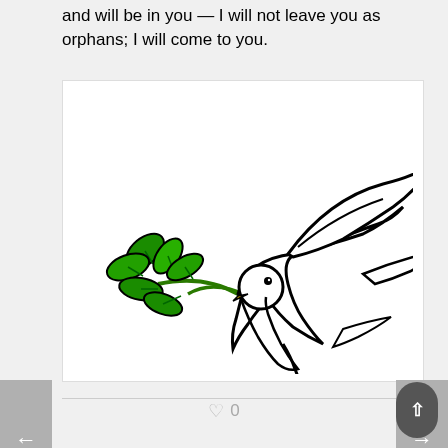and will be in you — I will not leave you as orphans; I will come to you.
[Figure (illustration): A white dove in flight carrying a green olive branch in its yellow beak, rendered as a black-and-white clipart with colored olive branch leaves in green.]
0